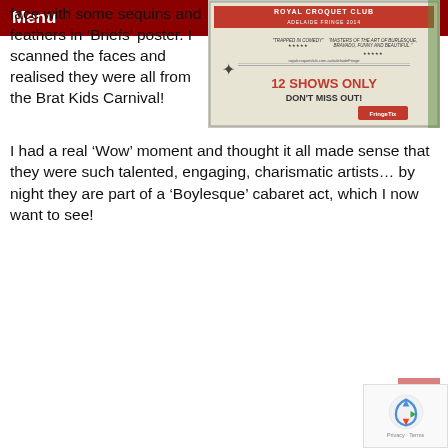Menu
face with some sequins and feathers in ‘Briefs’ poster. I scanned the faces and realised they were all from the Brat Kids Carnival!
[Figure (photo): Photograph of a Royal Croquet Club Adelaide Fringe 2014 poster/advertisement showing '12 Shows Only Don't Miss Out!' text and Fringe Tix logo]
I had a real ‘Wow’ moment and thought it all made sense that they were such talented, engaging, charismatic artists… by night they are part of a ‘Boylesque’ cabaret act, which I now want to see!